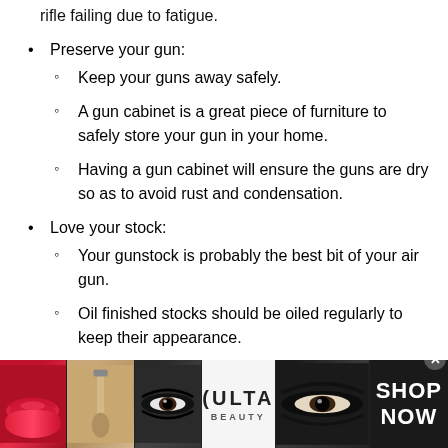rifle failing due to fatigue.
Preserve your gun:
Keep your guns away safely.
A gun cabinet is a great piece of furniture to safely store your gun in your home.
Having a gun cabinet will ensure the guns are dry so as to avoid rust and condensation.
Love your stock:
Your gunstock is probably the best bit of your air gun.
Oil finished stocks should be oiled regularly to keep their appearance.
[Figure (photo): Ulta Beauty advertisement banner showing makeup-related images (lips, brush, eyes) and Ulta Beauty logo with SHOP NOW text]